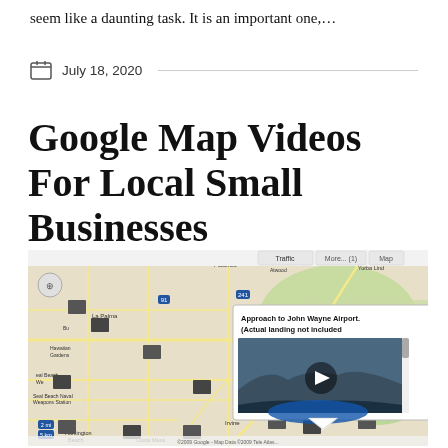seem like a daunting task. It is an important one,…
July 18, 2020
Google Map Videos For Local Small Businesses
[Figure (screenshot): A Google Maps screenshot showing Southern California area with a video popup overlay showing 'Approach to John Wayne Airport. (Actual landing not included' with a video player and play button. The map shows cities including La Palma, Huntington Beach, Costa Mesa, Irvine, Yorba Linda, and shows map/satellite/terrain controls and a checkbox menu for Photos, Videos, Wikipedia layers.]